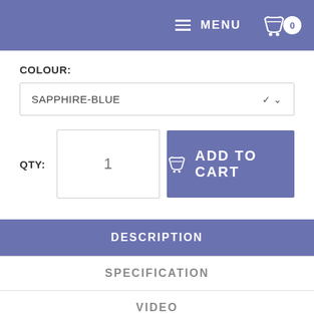MENU  0
COLOUR:
SAPPHIRE-BLUE
QTY:  1  ADD TO CART
DESCRIPTION
SPECIFICATION
VIDEO